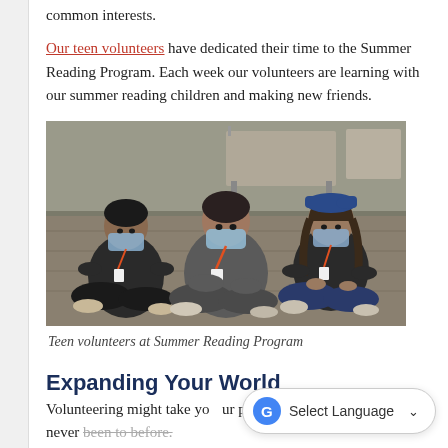common interests. Our teen volunteers have dedicated their time to the Summer Reading Program. Each week our volunteers are learning with our summer reading children and making new friends.
[Figure (photo): Three teen volunteers wearing masks and lanyards sitting cross-legged on the floor of a community room, smiling at the camera. Tables and chairs visible in background.]
Teen volunteers at Summer Reading Program
Expanding Your World
Volunteering might take you to parts of your community you never been to before.